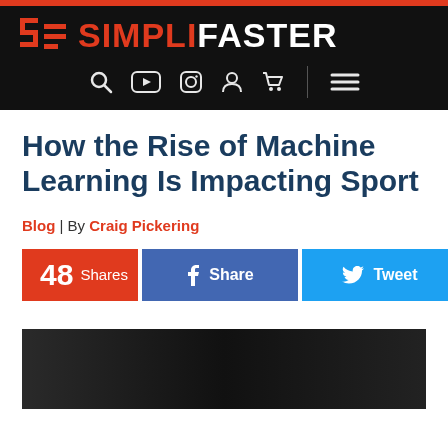[Figure (logo): SimpliFaster website header with red bar, logo 'SF SIMPLIFASTER' in white and orange on black background, navigation icons (search, YouTube, Instagram, user, cart, menu)]
How the Rise of Machine Learning Is Impacting Sport
Blog | By Craig Pickering
48 Shares   f Share   Tweet
[Figure (photo): Dark photo showing partial figures, article hero image]